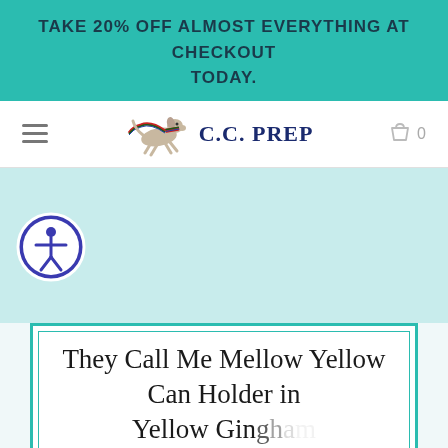TAKE 20% OFF ALMOST EVERYTHING AT CHECKOUT TODAY.
[Figure (logo): C.C. PREP logo with a running dog dressed in plaid scarf, navigation bar with hamburger menu and shopping cart]
[Figure (other): Accessibility icon - circle with person figure inside, blue and white]
They Call Me Mellow Yellow Can Holder in Yellow Gingham